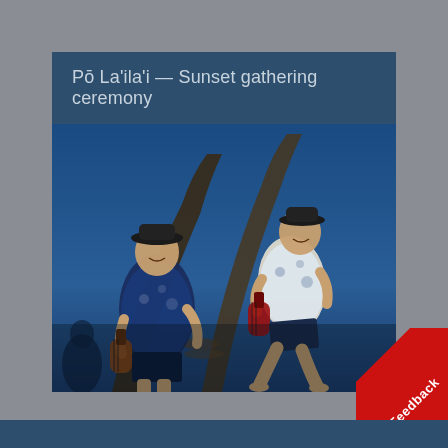Pō La'ila'i — Sunset gathering ceremony
[Figure (photo): Two men in Hawaiian/aloha shirts playing ukuleles. The man on the left wears a black fedora hat and a blue floral shirt, playing a ukulele. The man on the right wears a white and blue floral shirt and is jumping/leaping in the air while playing a red ukulele. Both are outdoors against a blue sky with large curved wooden boat or structure elements behind them.]